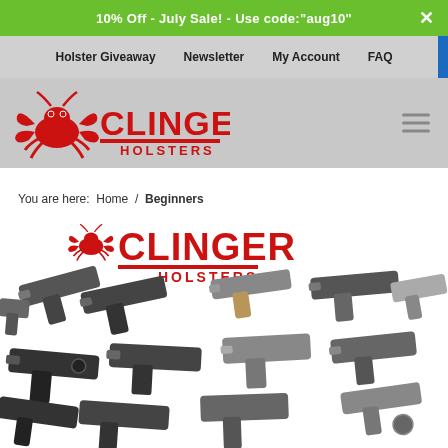10% Off - July Sale! - Use code:"aug10"
Holster Giveaway | Newsletter | My Account | FAQ
[Figure (logo): Clinger Holsters logo with red crab and red text]
You are here:  Home  /  Beginners
[Figure (photo): Clinger Holsters banner image showing multiple handguns arranged on white background with red Clinger Holsters logo at top]